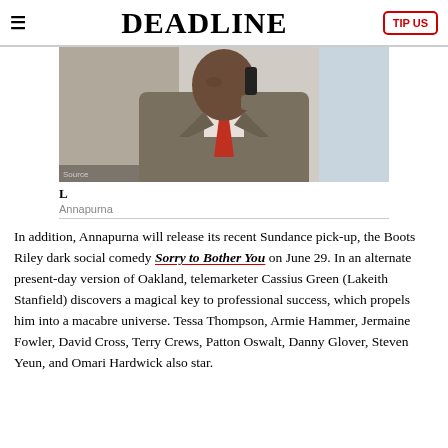DEADLINE | TIP US
[Figure (photo): A man in a grey suit holding a phone to his ear, wearing a red tie, looking directly at camera. Film still from Sorry to Bother You.]
L
Annapurna
In addition, Annapurna will release its recent Sundance pick-up, the Boots Riley dark social comedy Sorry to Bother You on June 29. In an alternate present-day version of Oakland, telemarketer Cassius Green (Lakeith Stanfield) discovers a magical key to professional success, which propels him into a macabre universe. Tessa Thompson, Armie Hammer, Jermaine Fowler, David Cross, Terry Crews, Patton Oswalt, Danny Glover, Steven Yeun, and Omari Hardwick also star.